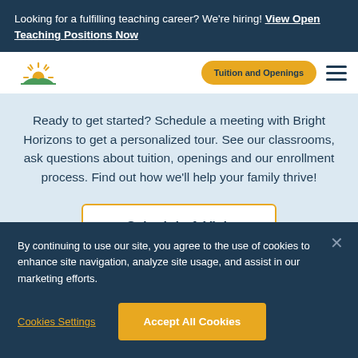Looking for a fulfilling teaching career? We're hiring! View Open Teaching Positions Now
[Figure (logo): Bright Horizons sun logo — stylized yellow sun rising over a green hill]
Ready to get started? Schedule a meeting with Bright Horizons to get a personalized tour. See our classrooms, ask questions about tuition, openings and our enrollment process. Find out how we'll help your family thrive!
Schedule A Visit
By continuing to use our site, you agree to the use of cookies to enhance site navigation, analyze site usage, and assist in our marketing efforts.
Cookies Settings
Accept All Cookies